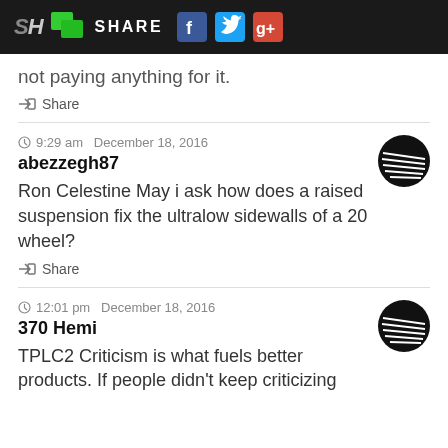SH SHARE
…chose to read on my own device while not paying anything for it.
Share
9:29 am  December 18, 2016
abezzegh87
Ron Celestine May i ask how does a raised suspension fix the ultralow sidewalls of a 20 wheel?
Share
12:01 pm  December 18, 2016
370 Hemi
TPLC2 Criticism is what fuels better products. If people didn't keep criticizing